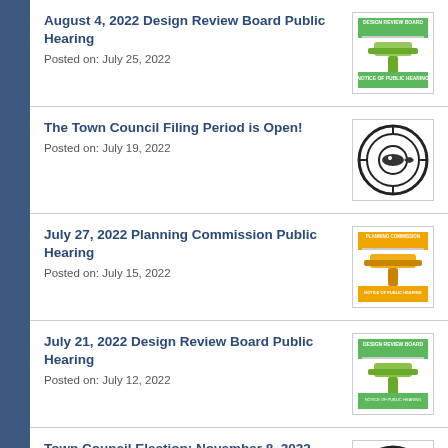August 4, 2022 Design Review Board Public Hearing
Posted on: July 25, 2022
The Town Council Filing Period is Open!
Posted on: July 19, 2022
July 27, 2022 Planning Commission Public Hearing
Posted on: July 15, 2022
July 21, 2022 Design Review Board Public Hearing
Posted on: July 12, 2022
Town Council Election: November 8, 2022
Posted on: July 5, 2022
General Housing Element Update